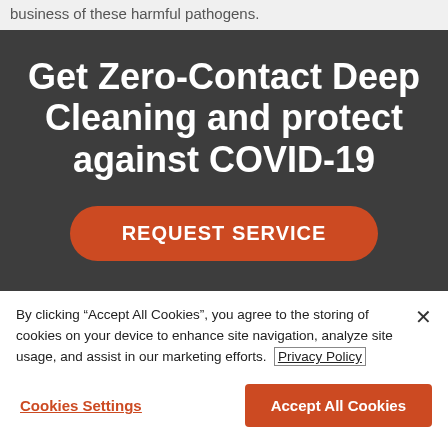business of these harmful pathogens.
Get Zero-Contact Deep Cleaning and protect against COVID-19
REQUEST SERVICE
By clicking “Accept All Cookies”, you agree to the storing of cookies on your device to enhance site navigation, analyze site usage, and assist in our marketing efforts. Privacy Policy
Cookies Settings
Accept All Cookies